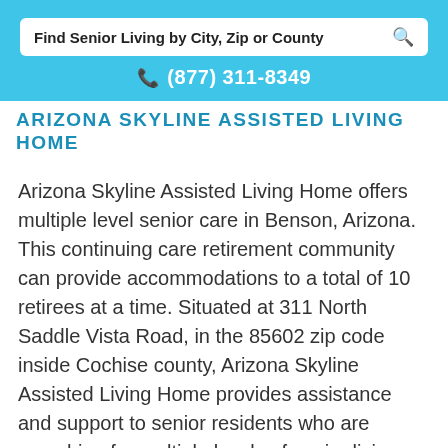Find Senior Living by City, Zip or County
(877) 311-8349
ARIZONA SKYLINE ASSISTED LIVING HOME
Arizona Skyline Assisted Living Home offers multiple level senior care in Benson, Arizona. This continuing care retirement community can provide accommodations to a total of 10 retirees at a time. Situated at 311 North Saddle Vista Road, in the 85602 zip code inside Cochise county, Arizona Skyline Assisted Living Home provides assistance and support to senior residents who are searching for multiple levels of senior living. Arizona Skyline Assisted Living Home includes dementia care and assisted living services that include maintenance-free lifestyle, showering, meals